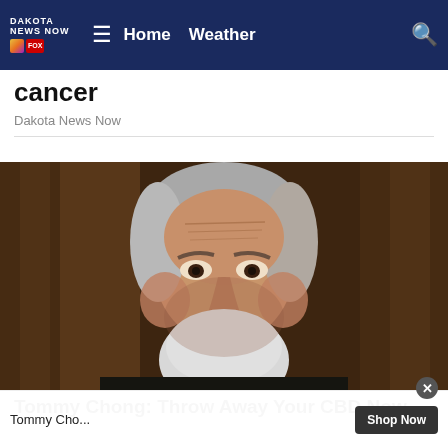DAKOTA FOX NEWS NOW | Home | Weather
cancer
Dakota News Now
[Figure (photo): Elderly man with white beard and gray hair looking at the camera, dark background with curtains]
Tommy Chong: Throw Away Your CBD Now
Tommy Cho... Shop Now